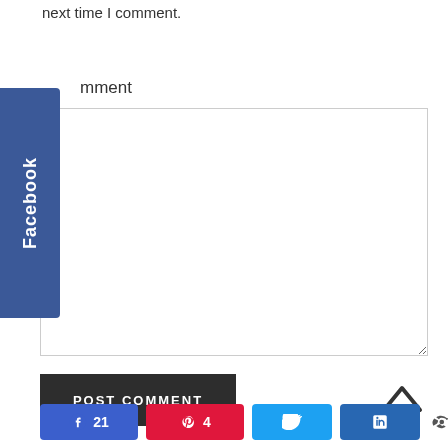next time I comment.
Comment
Facebook
POST COMMENT
21
4
25 SHARES